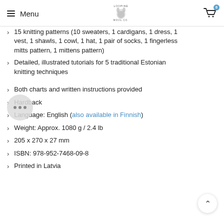Menu | Loopine Wool Co | Cart
15 knitting patterns (10 sweaters, 1 cardigans, 1 dress, 1 vest, 1 shawls, 1 cowl, 1 hat, 1 pair of socks, 1 fingerless mitts pattern, 1 mittens pattern)
Detailed, illustrated tutorials for 5 traditional Estonian knitting techniques
Both charts and written instructions provided
Hardback
Language: English (also available in Finnish)
Weight: Approx. 1080 g / 2.4 lb
205 x 270 x 27 mm
ISBN: 978-952-7468-09-8
Printed in Latvia